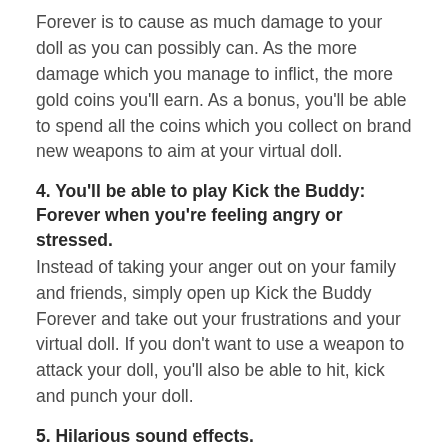Forever is to cause as much damage to your doll as you can possibly can. As the more damage which you manage to inflict, the more gold coins you'll earn. As a bonus, you'll be able to spend all the coins which you collect on brand new weapons to aim at your virtual doll.
4. You'll be able to play Kick the Buddy: Forever when you're feeling angry or stressed.
Instead of taking your anger out on your family and friends, simply open up Kick the Buddy Forever and take out your frustrations and your virtual doll. If you don't want to use a weapon to attack your doll, you'll also be able to hit, kick and punch your doll.
5. Hilarious sound effects.
Each time you damage your virtual doll he'll scream out different lines. Such as "What did I do to deserve